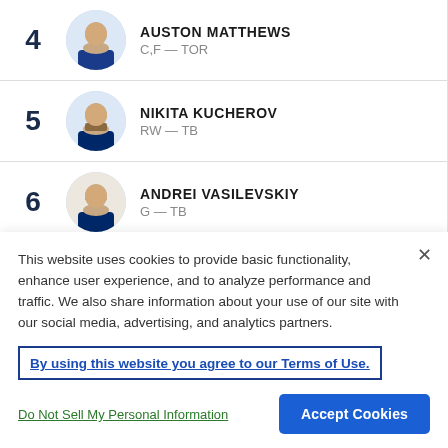4 AUSTON MATTHEWS C,F — TOR
5 NIKITA KUCHEROV RW — TB
6 ANDREI VASILEVSKIY G — TB
7 MIKKO RANTANEN RW,F — COL
This website uses cookies to provide basic functionality, enhance user experience, and to analyze performance and traffic. We also share information about your use of our site with our social media, advertising, and analytics partners.
By using this website you agree to our Terms of Use.
Do Not Sell My Personal Information
Accept Cookies